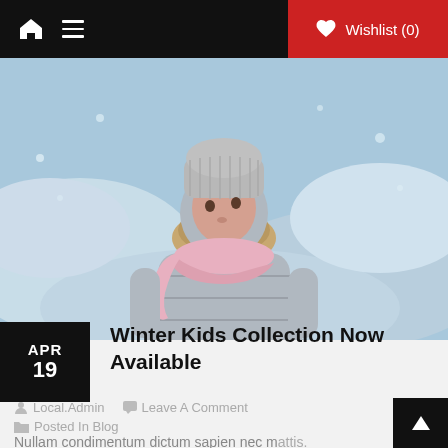Home   Menu   Wishlist (0)
[Figure (photo): Child wearing a grey winter puffer jacket with pink scarf and grey knit hat, standing outdoors in the snow looking upward]
APR 19
Winter Kids Collection Now Available
Local.Admin   Leave A Comment   Posted In Blog
Nullam condimentum dictum sapien nec mattis. Praesent at pulvinar sed lorem eu aliquam.